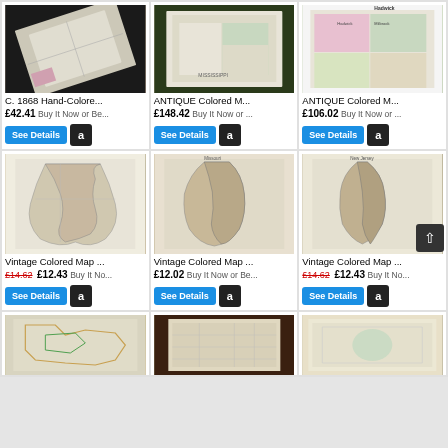[Figure (screenshot): E-commerce search results grid showing antique and vintage colored maps for sale. Row 1: Three map listings. Row 2: Three vintage colored map listings. Row 3 (partial): Three more map image thumbnails.]
C. 1868 Hand-Colore...
£42.41 Buy It Now or Be...
ANTIQUE Colored M...
£148.42 Buy It Now or ...
ANTIQUE Colored M...
£106.02 Buy It Now or ...
Vintage Colored Map ...
£14.62 £12.43 Buy It No...
Vintage Colored Map ...
£12.02 Buy It Now or Be...
Vintage Colored Map ...
£14.62 £12.43 Buy It No...